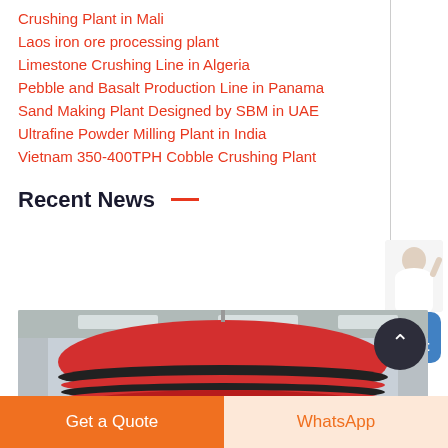Crushing Plant in Mali
Laos iron ore processing plant
Limestone Crushing Line in Algeria
Pebble and Basalt Production Line in Panama
Sand Making Plant Designed by SBM in UAE
Ultrafine Powder Milling Plant in India
Vietnam 350-400TPH Cobble Crushing Plant
Recent News
[Figure (photo): Large red and black industrial cone crusher inside a factory/warehouse setting, viewed from below looking up at the machine.]
Get a Quote
WhatsApp